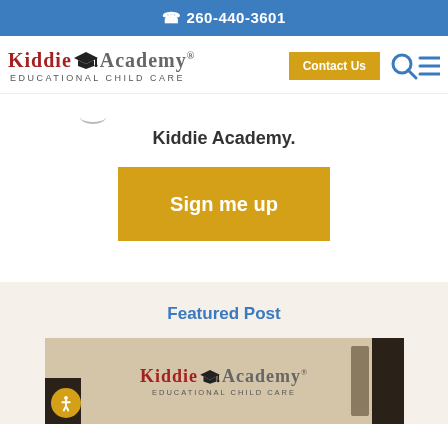📞 260-440-3601
[Figure (logo): Kiddie Academy Educational Child Care logo with graduation cap icon]
Contact Us
Kiddie Academy.
Sign me up
Featured Post
[Figure (photo): Kiddie Academy Educational Child Care indoor sign on wall]